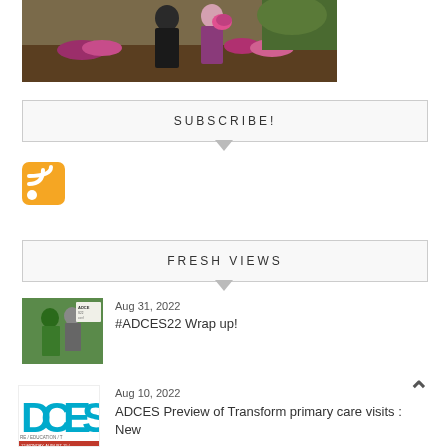[Figure (photo): Photo of two people standing outdoors in a garden/field setting with flowers]
SUBSCRIBE!
[Figure (logo): RSS feed orange icon]
FRESH VIEWS
[Figure (photo): Thumbnail photo of ADCES conference sign and people]
Aug 31, 2022
#ADCES22 Wrap up!
[Figure (logo): ADCES conference logo thumbnail]
Aug 10, 2022
ADCES Preview of Transform primary care visits : New